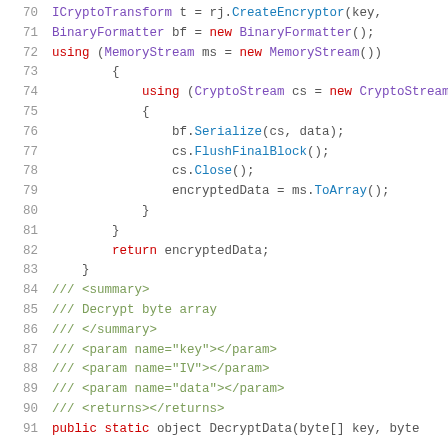[Figure (screenshot): C# source code snippet showing lines 70-91, including ICryptoTransform, BinaryFormatter, MemoryStream, CryptoStream usage, serialization, encryption, and XML documentation comments for a DecryptData method.]